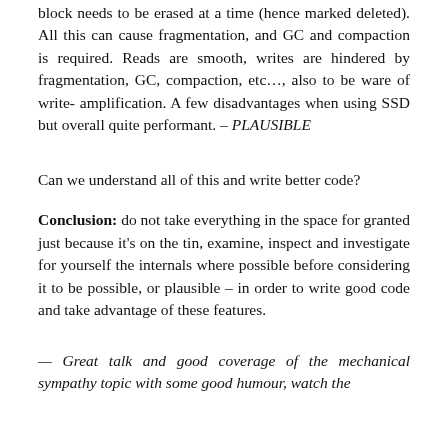block needs to be erased at a time (hence marked deleted). All this can cause fragmentation, and GC and compaction is required. Reads are smooth, writes are hindered by fragmentation, GC, compaction, etc…, also to be ware of write-amplification. A few disadvantages when using SSD but overall quite performant. – PLAUSIBLE
Can we understand all of this and write better code?
Conclusion: do not take everything in the space for granted just because it's on the tin, examine, inspect and investigate for yourself the internals where possible before considering it to be possible, or plausible – in order to write good code and take advantage of these features.
— Great talk and good coverage of the mechanical sympathy topic with some good humour, watch the